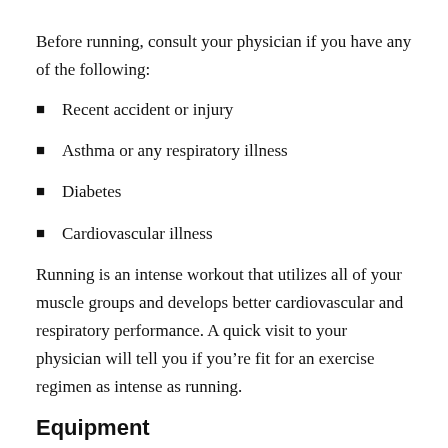Before running, consult your physician if you have any of the following:
Recent accident or injury
Asthma or any respiratory illness
Diabetes
Cardiovascular illness
Running is an intense workout that utilizes all of your muscle groups and develops better cardiovascular and respiratory performance. A quick visit to your physician will tell you if you’re fit for an exercise regimen as intense as running.
Equipment
Running shoes are about the only equipment that you need to buy for running.  A good running shoe starts at